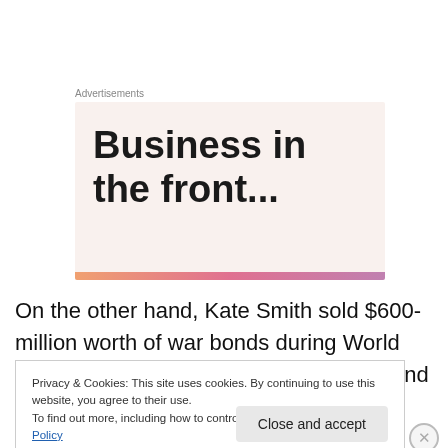Advertisements
[Figure (illustration): Advertisement banner with text 'Business in the front...' on a light pink/beige background with a colorful gradient stripe at the bottom]
On the other hand, Kate Smith sold $600-million worth of war bonds during World War II, more than any other individual, and the number of her appearances before
Privacy & Cookies: This site uses cookies. By continuing to use this website, you agree to their use.
To find out more, including how to control cookies, see here: Cookie Policy
Close and accept